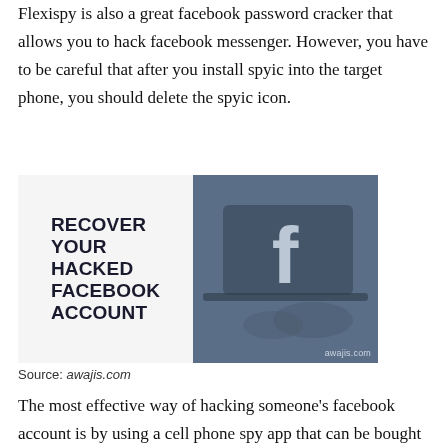Flexispy is also a great facebook password cracker that allows you to hack facebook messenger. However, you have to be careful that after you install spyic into the target phone, you should delete the spyic icon.
[Figure (photo): Image with two panels: left panel on white background with bold text reading 'RECOVER YOUR HACKED FACEBOOK ACCOUNT', right panel showing a dark blue-toned photo of a laptop with the Facebook 'f' logo on screen and hands typing, with watermark 'awajis.com']
Source: awajis.com
The most effective way of hacking someone's facebook account is by using a cell phone spy app that can be bought online. A few things you can do to protect your facebook account...